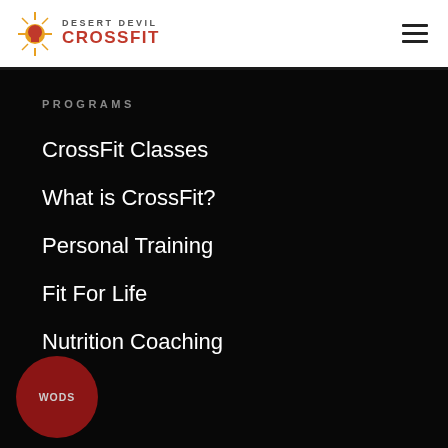[Figure (logo): Desert Devil CrossFit logo with skull icon and red crossfit text]
PROGRAMS
CrossFit Classes
What is CrossFit?
Personal Training
Fit For Life
Nutrition Coaching
[Figure (other): Dark red circular WODs button in bottom left corner]